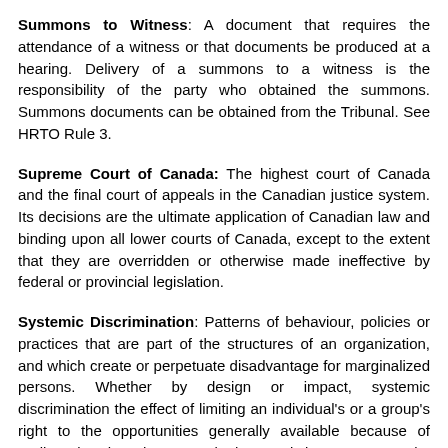Summons to Witness: A document that requires the attendance of a witness or that documents be produced at a hearing. Delivery of a summons to a witness is the responsibility of the party who obtained the summons. Summons documents can be obtained from the Tribunal. See HRTO Rule 3.
Supreme Court of Canada: The highest court of Canada and the final court of appeals in the Canadian justice system. Its decisions are the ultimate application of Canadian law and binding upon all lower courts of Canada, except to the extent that they are overridden or otherwise made ineffective by federal or provincial legislation.
Systemic Discrimination: Patterns of behaviour, policies or practices that are part of the structures of an organization, and which create or perpetuate disadvantage for marginalized persons. Whether by design or impact, systemic discrimination the effect of limiting an individual's or a group's right to the opportunities generally available because of attributed rather than actual characteristics. For example, systemic racial discrimination. Also referred to as institutional discrimination.